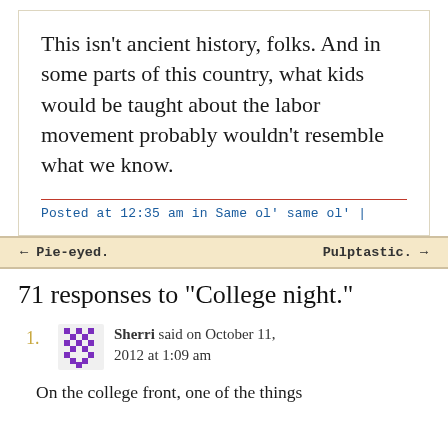This isn’t ancient history, folks. And in some parts of this country, what kids would be taught about the labor movement probably wouldn’t resemble what we know.
Posted at 12:35 am in Same ol’ same ol’ |
← Pie-eyed.
Pulptastic. →
71 responses to “College night.”
Sherri said on October 11, 2012 at 1:09 am
On the college front, one of the things